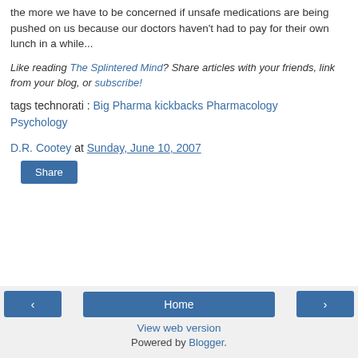the more we have to be concerned if unsafe medications are being pushed on us because our doctors haven't had to pay for their own lunch in a while...
Like reading The Splintered Mind? Share articles with your friends, link from your blog, or subscribe!
tags technorati : Big Pharma kickbacks Pharmacology Psychology
D.R. Cootey at Sunday, June 10, 2007
Share
◁  Home  ▷  View web version  Powered by Blogger.